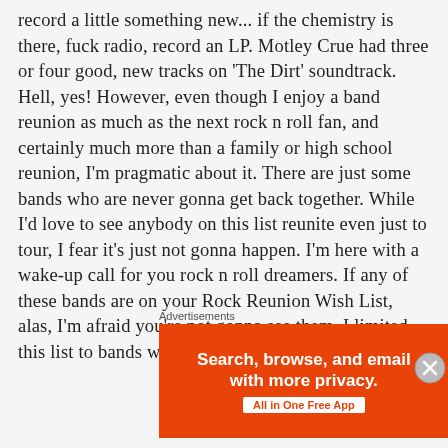record a little something new... if the chemistry is there, fuck radio, record an LP. Motley Crue had three or four good, new tracks on 'The Dirt' soundtrack. Hell, yes! However, even though I enjoy a band reunion as much as the next rock n roll fan, and certainly much more than a family or high school reunion, I'm pragmatic about it. There are just some bands who are never gonna get back together. While I'd love to see anybody on this list reunite even just to tour, I fear it's just not gonna happen. I'm here with a wake-up call for you rock n roll dreamers. If any of these bands are on your Rock Reunion Wish List, alas, I'm afraid you're not gonna see them. I limited this list to bands who have all or at least a majority
Advertisements
[Figure (other): DuckDuckGo advertisement banner: orange left panel with 'Search, browse, and email with more privacy. All in One Free App' and dark right panel with DuckDuckGo logo and name.]